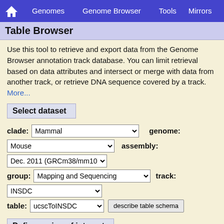Genomes  Genome Browser  Tools  Mirrors
Table Browser
Use this tool to retrieve and export data from the Genome Browser annotation track database. You can limit retrieval based on data attributes and intersect or merge with data from another track, or retrieve DNA sequence covered by a track. More...
Select dataset
clade: Mammal  genome: Mouse  assembly: Dec. 2011 (GRCm38/mm10)  group: Mapping and Sequencing  track: INSDC  table: ucscToINSDC  describe table schema
Define region of interest